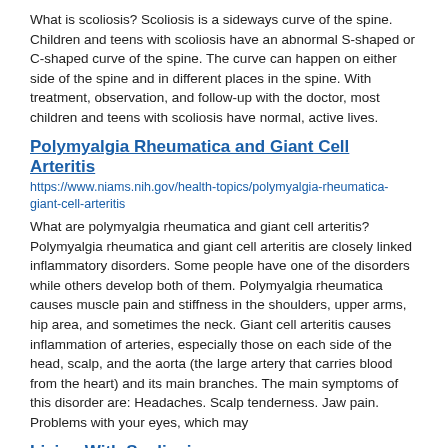What is scoliosis? Scoliosis is a sideways curve of the spine. Children and teens with scoliosis have an abnormal S-shaped or C-shaped curve of the spine. The curve can happen on either side of the spine and in different places in the spine. With treatment, observation, and follow-up with the doctor, most children and teens with scoliosis have normal, active lives.
Polymyalgia Rheumatica and Giant Cell Arteritis
https://www.niams.nih.gov/health-topics/polymyalgia-rheumatica-giant-cell-arteritis
What are polymyalgia rheumatica and giant cell arteritis? Polymyalgia rheumatica and giant cell arteritis are closely linked inflammatory disorders. Some people have one of the disorders while others develop both of them. Polymyalgia rheumatica causes muscle pain and stiffness in the shoulders, upper arms, hip area, and sometimes the neck. Giant cell arteritis causes inflammation of arteries, especially those on each side of the head, scalp, and the aorta (the large artery that carries blood from the heart) and its main branches. The main symptoms of this disorder are: Headaches. Scalp tenderness. Jaw pain. Problems with your eyes, which may
Living With Scoliosis
https://www.niams.nih.gov/living-scoliosis